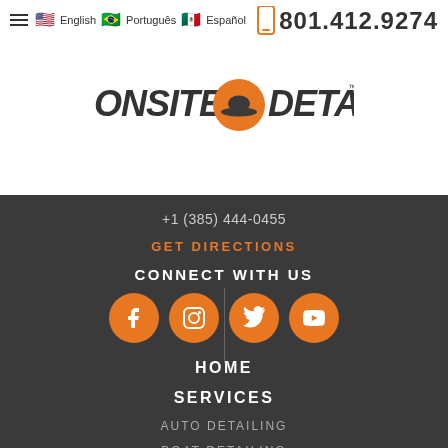≡ 🇺🇸 English 🇧🇷 Português 🇲🇽 Español
801.412.9274
[Figure (logo): Onsite Detail logo with orange circle/car silhouette and stylized text]
+1 (385) 444-0455
GET DIRECTIONS
CONNECT WITH US
[Figure (illustration): Four orange circular social media icons: Facebook, Instagram, Twitter, YouTube]
HOME
SERVICES
AUTO DETAILING
BOAT DETAILING